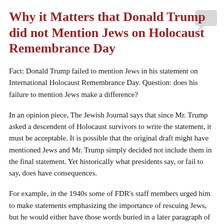Why it Matters that Donald Trump did not Mention Jews on Holocaust Remembrance Day
Fact: Donald Trump failed to mention Jews in his statement on International Holocaust Remembrance Day. Question: does his failure to mention Jews make a difference?
In an opinion piece, The Jewish Journal says that since Mr. Trump asked a descendent of Holocaust survivors to write the statement, it must be acceptable. It is possible that the original draft might have mentioned Jews and Mr. Trump simply decided not include them in the final statement. Yet historically what presidents say, or fail to say, does have consequences.
For example, in the 1940s some of FDR's staff members urged him to make statements emphasizing the importance of rescuing Jews, but he would either have those words buried in a later paragraph of his speech or chose not to use them at all. FDR's prevarications ensured that the rescue of Jews would not be a priority.